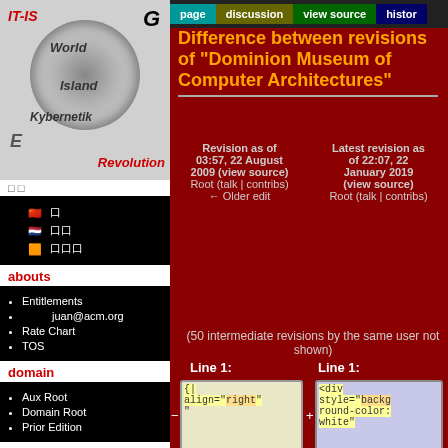[Figure (logo): IT-IS World Island Kybernetik E Revolution spiral logo with flags and navigation links]
abouts
Entitlements
juan@acm.org
Rate Chart
TOS
domain
Aux Root
Domain Root
Prior Edition
text
page | discussion | view source | history | log in
Difference between revisions of "Dominion Museum of Computer Architectures"
Revision as of 03:57, 22 August 2009 (view source) Root (talk | contribs) ← Older edit
Latest revision as of 22:07, 22 January 2019 (view source) Root (talk | contribs)
(50 intermediate revisions by the same user not shown)
Line 1:
Line 1:
[Figure (screenshot): Code diff showing old revision with {| align="right" and new revision with <div style="background-color:white"]